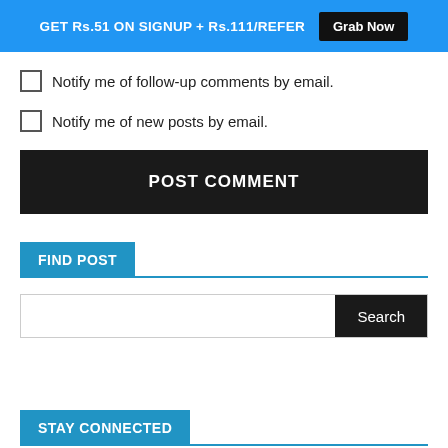GET Rs.51 ON SIGNUP + Rs.111/REFER  Grab Now
Notify me of follow-up comments by email.
Notify me of new posts by email.
POST COMMENT
FIND POST
Search
STAY CONNECTED
[Figure (other): Facebook social media bar with Facebook logo icon]